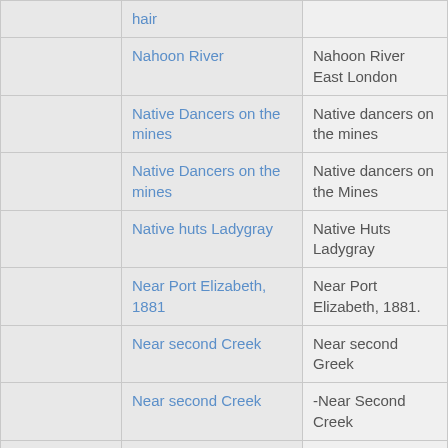|  |  |  |
| --- | --- | --- |
|  | hair |  |
|  | Nahoon River | Nahoon River East London |
|  | Native Dancers on the mines | Native dancers on the mines |
|  | Native Dancers on the mines | Native dancers on the Mines |
|  | Native huts Ladygray | Native Huts Ladygray |
|  | Near Port Elizabeth, 1881 | Near Port Elizabeth, 1881. |
|  | Near second Creek | Near second Greek |
|  | Near second Creek | -Near Second Creek |
|  | New Collegiate | New Collegiate school Port Elizabeth |